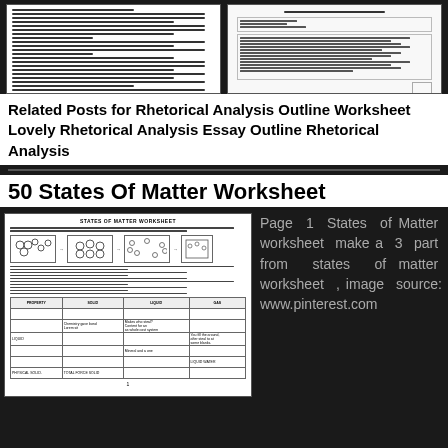[Figure (screenshot): Two document thumbnail images showing Rhetorical Analysis Outline Worksheet pages]
Related Posts for Rhetorical Analysis Outline Worksheet Lovely Rhetorical Analysis Essay Outline Rhetorical Analysis
50 States Of Matter Worksheet
[Figure (screenshot): States of Matter Worksheet thumbnail showing molecule diagrams and a table]
Page 1 States of Matter worksheet make a 3 part from states of matter worksheet , image source: www.pinterest.com